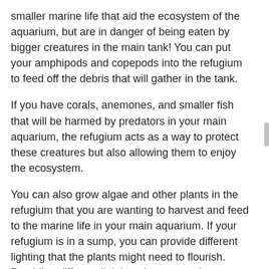smaller marine life that aid the ecosystem of the aquarium, but are in danger of being eaten by bigger creatures in the main tank! You can put your amphipods and copepods into the refugium to feed off the debris that will gather in the tank.
If you have corals, anemones, and smaller fish that will be harmed by predators in your main aquarium, the refugium acts as a way to protect these creatures but also allowing them to enjoy the ecosystem.
You can also grow algae and other plants in the refugium that you are wanting to harvest and feed to the marine life in your main aquarium. If your refugium is in a sump, you can provide different lighting that the plants might need to flourish. Providing different lighting also means that you can add oxygen to the water during nighttime hours. This is a great way to keep the pH levels stable.